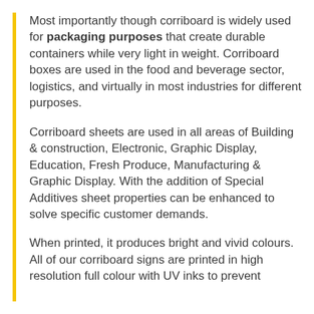Most importantly though corriboard is widely used for packaging purposes that create durable containers while very light in weight. Corriboard boxes are used in the food and beverage sector, logistics, and virtually in most industries for different purposes.
Corriboard sheets are used in all areas of Building & construction, Electronic, Graphic Display, Education, Fresh Produce, Manufacturing & Graphic Display. With the addition of Special Additives sheet properties can be enhanced to solve specific customer demands.
When printed, it produces bright and vivid colours. All of our corriboard signs are printed in high resolution full colour with UV inks to prevent